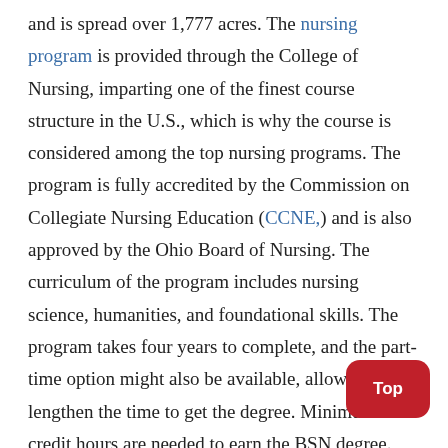and is spread over 1,777 acres. The nursing program is provided through the College of Nursing, imparting one of the finest course structure in the U.S., which is why the course is considered among the top nursing programs. The program is fully accredited by the Commission on Collegiate Nursing Education (CCNE,) and is also approved by the Ohio Board of Nursing. The curriculum of the program includes nursing science, humanities, and foundational skills. The program takes four years to complete, and the part-time option might also be available, allowing to lengthen the time to get the degree. Minimum 121 credit hours are needed to earn the BSN degree. The students become eligible to take the National Nursing Licensure Examination (NCLEX) at the time of graduation. The license is needed to